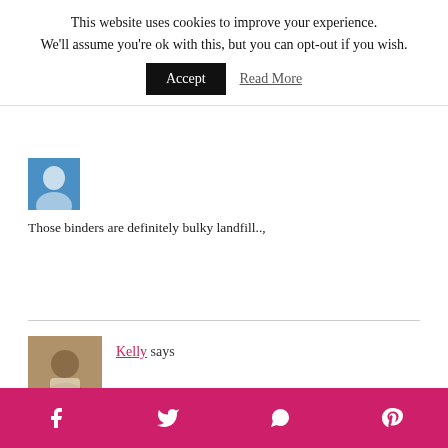This website uses cookies to improve your experience. We'll assume you're ok with this, but you can opt-out if you wish. Accept Read More
Those binders are definitely bulky landfill..,
Kelly says
Social sharing bar: Facebook, Twitter, WhatsApp, Pinterest